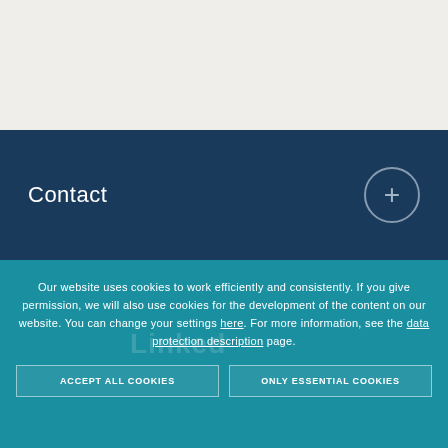Contact
Our website uses cookies to work efficiently and consistently. If you give permission, we will also use cookies for the development of the content on our website. You can change your settings here. For more information, see the data protection description page.
ACCEPT ALL COOKIES
ONLY ESSENTIAL COOKIES